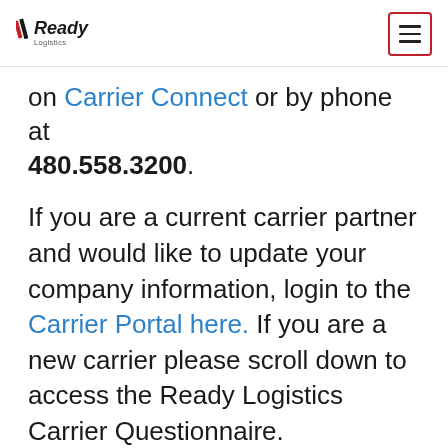Ready Logistics [logo] [hamburger menu]
on Carrier Connect or by phone at 480.558.3200.
If you are a current carrier partner and would like to update your company information, login to the Carrier Portal here. If you are a new carrier please scroll down to access the Ready Logistics Carrier Questionnaire.